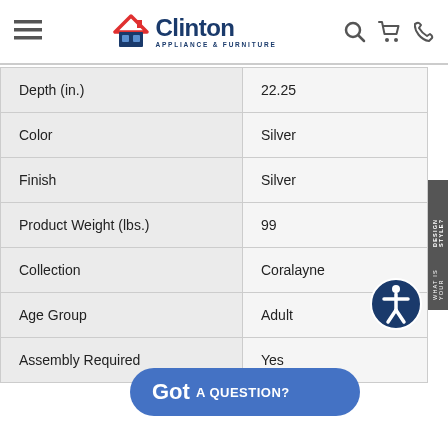Clinton Appliance & Furniture
| Attribute | Value |
| --- | --- |
| Depth (in.) | 22.25 |
| Color | Silver |
| Finish | Silver |
| Product Weight (lbs.) | 99 |
| Collection | Coralayne |
| Age Group | Adult |
| Assembly Required | Yes |